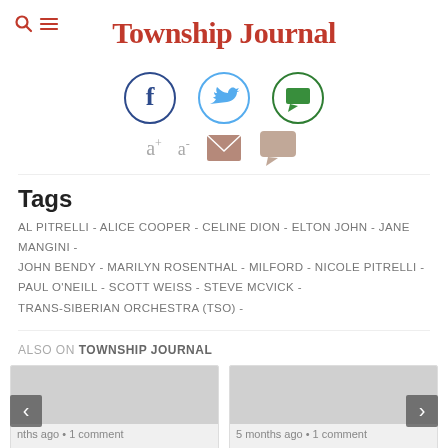Township Journal
[Figure (infographic): Social sharing icons: Facebook (dark blue circle), Twitter (light blue circle), Comments/chat (green circle)]
[Figure (infographic): Text tool icons: a+ (increase font), a- (decrease font), envelope (email), chat bubble (comment)]
Tags
AL PITRELLI - ALICE COOPER - CELINE DION - ELTON JOHN - JANE MANGINI - JOHN BENDY - MARILYN ROSENTHAL - MILFORD - NICOLE PITRELLI - PAUL O'NEILL - SCOTT WEISS - STEVE MCVICK - TRANS-SIBERIAN ORCHESTRA (TSO) -
ALSO ON TOWNSHIP JOURNAL
[Figure (screenshot): Two article preview cards side by side. Left card shows a gray image placeholder and text 'nths ago • 1 comment'. Right card shows a gray image placeholder and text '5 months ago • 1 comment'. Navigation arrows on left and right sides.]